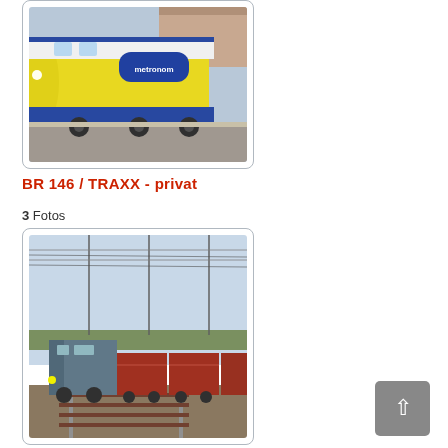[Figure (photo): Yellow and blue Metronom train locomotive at a station platform, side view.]
BR 146 / TRAXX - privat
3 Fotos
[Figure (photo): Gray electric locomotive pulling red freight wagons on a railway track, overhead wires visible.]